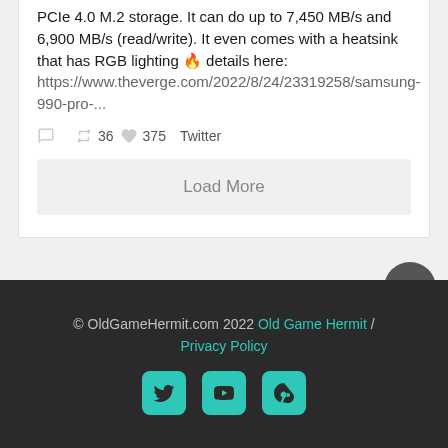PCIe 4.0 M.2 storage. It can do up to 7,450 MB/s and 6,900 MB/s (read/write). It even comes with a heatsink that has RGB lighting 🔥 details here: https://www.theverge.com/2022/8/24/23319258/samsung-990-pro-...
36 retweets, 375 likes, Twitter
Load More
© OldGameHermit.com 2022 Old Game Hermit / Privacy Policy